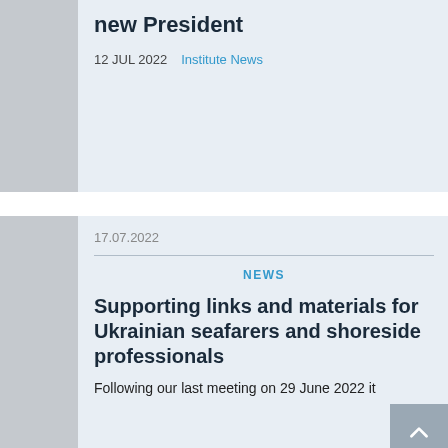new President
12 JUL 2022   Institute News
17.07.2022
NEWS
Supporting links and materials for Ukrainian seafarers and shoreside professionals
Following our last meeting on 29 June 2022 it